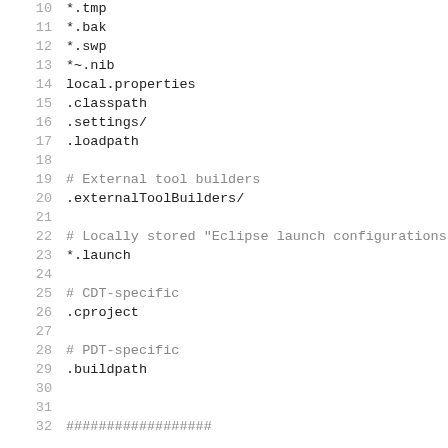10    *.tmp
11    *.bak
12    *.swp
13    *~.nib
14    local.properties
15    .classpath
16    .settings/
17    .loadpath
18
19    # External tool builders
20    .externalToolBuilders/
21
22    # Locally stored "Eclipse launch configurations"
23    *.launch
24
25    # CDT-specific
26    .cproject
27
28    # PDT-specific
29    .buildpath
30
31
32    ##################